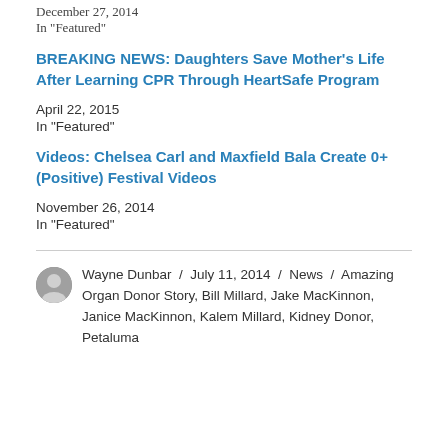December 27, 2014
In "Featured"
BREAKING NEWS: Daughters Save Mother's Life After Learning CPR Through HeartSafe Program
April 22, 2015
In "Featured"
Videos: Chelsea Carl and Maxfield Bala Create 0+ (Positive) Festival Videos
November 26, 2014
In "Featured"
Wayne Dunbar / July 11, 2014 / News / Amazing Organ Donor Story, Bill Millard, Jake MacKinnon, Janice MacKinnon, Kalem Millard, Kidney Donor, Petaluma